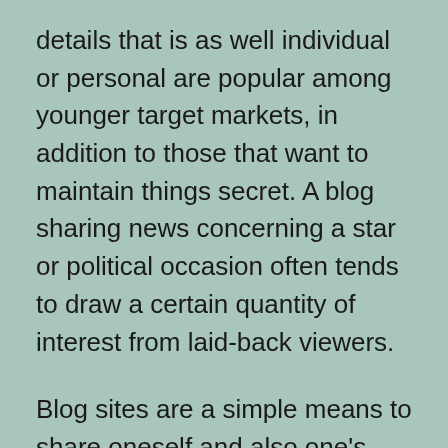details that is as well individual or personal are popular among younger target markets, in addition to those that want to maintain things secret. A blog sharing news concerning a star or political occasion often tends to draw a certain quantity of interest from laid-back viewers.
Blog sites are a simple means to share oneself and also one’s concepts and also opinions. Blogging offers its visitors the opportunity to reveal themselves, and also to locate new and also interesting product as well. As blogging ends up being even more preferred, it is likely